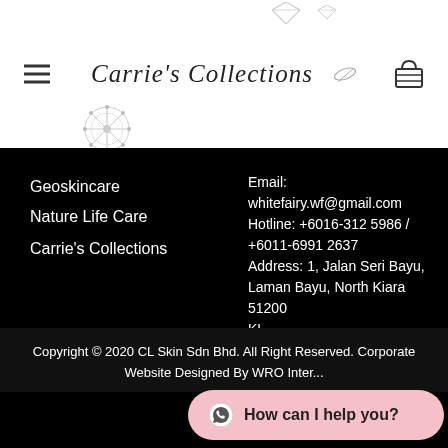Carrie's Collections
Geoskincare
Nature Life Care
Carrie's Collections
Email: whitefairy.wf@gmail.com
Hotline: +6016-312 5986 / +6011-6991 2637
Address: 1, Jalan Seri Bayu, Laman Bayu, North Kiara 51200 KL
[Figure (illustration): Facebook and Instagram social media circular icon buttons]
Copyright © 2020 CL Skin Sdn Bhd. All Right Reserved. Corporate Website Designed By WRO Inter...
[Figure (other): WhatsApp chat button with text 'How can I help you?']